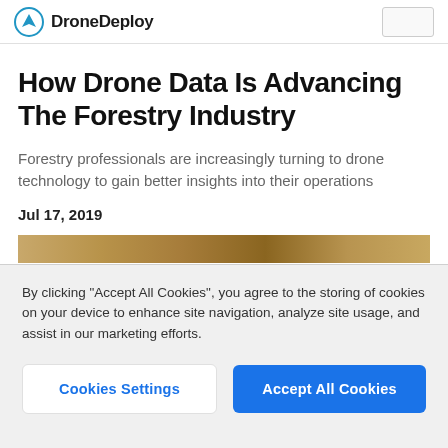DroneDeploy
How Drone Data Is Advancing The Forestry Industry
Forestry professionals are increasingly turning to drone technology to gain better insights into their operations
Jul 17, 2019
[Figure (photo): Partial view of a forestry/nature image, partially covered by cookie consent banner]
By clicking "Accept All Cookies", you agree to the storing of cookies on your device to enhance site navigation, analyze site usage, and assist in our marketing efforts.
Cookies Settings | Accept All Cookies